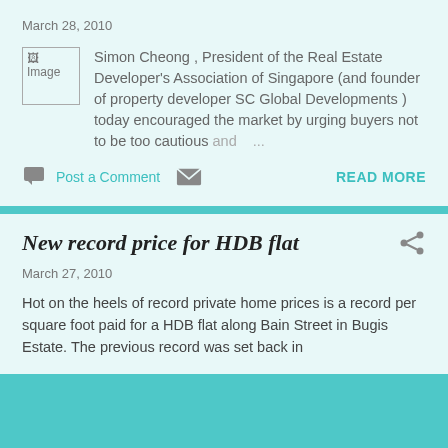March 28, 2010
[Figure (photo): Broken image placeholder]
Simon Cheong , President of the Real Estate Developer's Association of Singapore (and founder of property developer SC Global Developments ) today encouraged the market by urging buyers not to be too cautious and ...
Post a Comment
READ MORE
New record price for HDB flat
March 27, 2010
Hot on the heels of record private home prices is a record per square foot paid for a HDB flat along Bain Street in Bugis Estate. The previous record was set back in